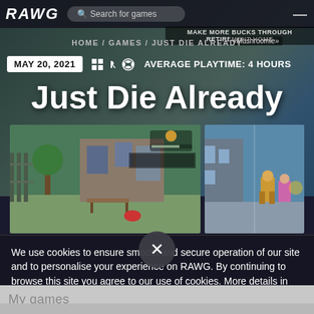RAWG — Search for games — HOME / GAMES / JUST DIE ALREADY
MAY 20, 2021   [Windows] [PlayStation] [Xbox]   AVERAGE PLAYTIME: 4 HOURS
Just Die Already
[Figure (screenshot): Two screenshots from the game Just Die Already showing third-person gameplay in a colorful retirement community environment]
We use cookies to ensure smooth and secure operation of our site and to personalise your experience on RAWG. By continuing to browse this site you agree to our use of cookies. More details in Cookies Policy.
My games
×